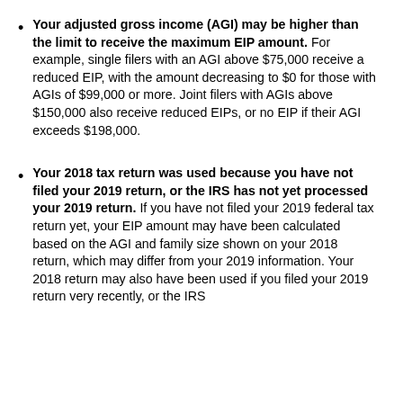Your adjusted gross income (AGI) may be higher than the limit to receive the maximum EIP amount. For example, single filers with an AGI above $75,000 receive a reduced EIP, with the amount decreasing to $0 for those with AGIs of $99,000 or more. Joint filers with AGIs above $150,000 also receive reduced EIPs, or no EIP if their AGI exceeds $198,000.
Your 2018 tax return was used because you have not filed your 2019 return, or the IRS has not yet processed your 2019 return. If you have not filed your 2019 federal tax return yet, your EIP amount may have been calculated based on the AGI and family size shown on your 2018 return, which may differ from your 2019 information. Your 2018 return may also have been used if you filed your 2019 return very recently, or the IRS